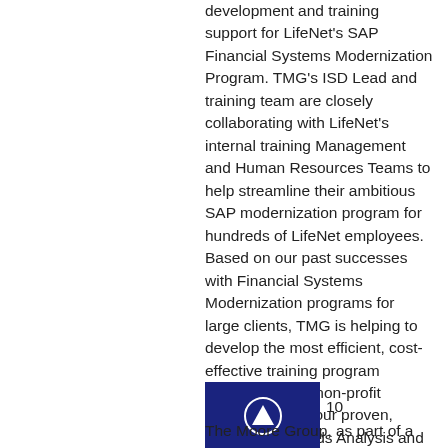development and training support for LifeNet's SAP Financial Systems Modernization Program. TMG's ISD Lead and training team are closely collaborating with LifeNet's internal training Management and Human Resources Teams to help streamline their ambitious SAP modernization program for hundreds of LifeNet employees. Based on our past successes with Financial Systems Modernization programs for large clients, TMG is helping to develop the most efficient, cost-effective training program possible for our non-profit customer using our proven, customized Needs Analysis and Requirements gathering processes.
[Figure (other): Dark blue navigation button with upward arrow icon]
10
The Moore Group, as part of a team,